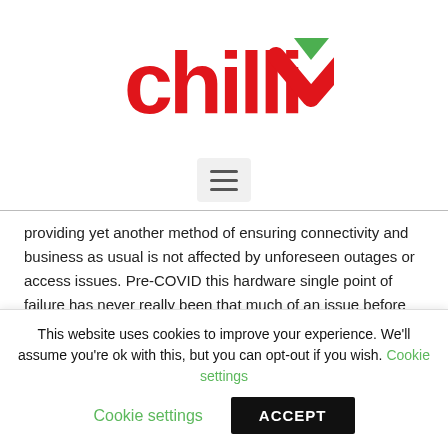[Figure (logo): Chilli brand logo: red lowercase 'chilli' text with a red and green downward-pointing chevron/arrow icon replacing the 'V']
[Figure (other): Hamburger menu icon: three horizontal lines inside a light grey rounded rectangle button]
providing yet another method of ensuring connectivity and business as usual is not affected by unforeseen outages or access issues. Pre-COVID this hardware single point of failure has never really been that much of an issue before but becomes increasingly important once we consider restricted access. The virtual UMS is implemented at a lower cost when
This website uses cookies to improve your experience. We'll assume you're ok with this, but you can opt-out if you wish. Cookie settings ACCEPT